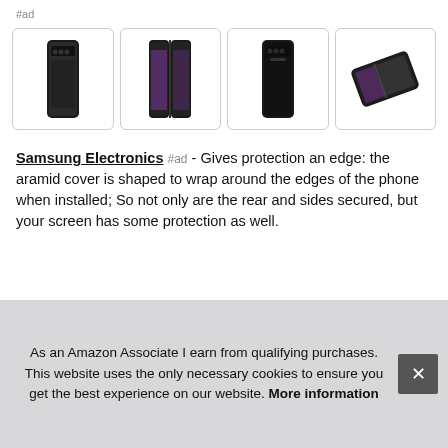#ad
[Figure (photo): Four product images of Samsung Galaxy Z Fold3 phone case in rounded rectangle bordered boxes: front closed view, front open view, front closed black view, and angled flat view.]
Samsung Electronics #ad - Gives protection an edge: the aramid cover is shaped to wrap around the edges of the phone when installed; So not only are the rear and sides secured, but your screen has some protection as well.
Smartphone compatibility Galaxy Z Fold3 5G. A comfortable grip; this case is made with Aramid material, created to be extr... sna...
As an Amazon Associate I earn from qualifying purchases. This website uses the only necessary cookies to ensure you get the best experience on our website. More information